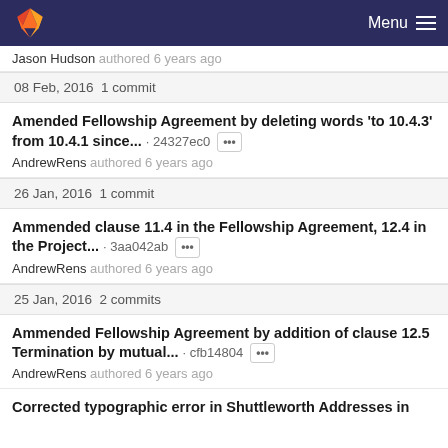Menu
Jason Hudson authored 6 years ago
08 Feb, 2016 1 commit
Amended Fellowship Agreement by deleting words 'to 10.4.3' from 10.4.1 since... · 24327ec0 ···
AndrewRens authored 6 years ago
26 Jan, 2016 1 commit
Ammended clause 11.4 in the Fellowship Agreement, 12.4 in the Project... · 3aa042ab ···
AndrewRens authored 6 years ago
25 Jan, 2016 2 commits
Ammended Fellowship Agreement by addition of clause 12.5 Termination by mutual... · cfb14804 ···
AndrewRens authored 6 years ago
Corrected typographic error in Shuttleworth Addresses in